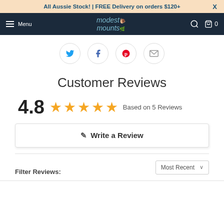All Aussie Stock! | FREE Delivery on orders $120+  X
[Figure (screenshot): Navigation bar with hamburger menu, Menu text, Modest Mounts logo, search icon, and cart icon with 0 items]
[Figure (infographic): Four social sharing icons in circles: Twitter (blue bird), Facebook (f), Pinterest (red p), Email (envelope)]
Customer Reviews
4.8  ★★★★★  Based on 5 Reviews
✎ Write a Review
Most Recent  ∨
Filter Reviews: